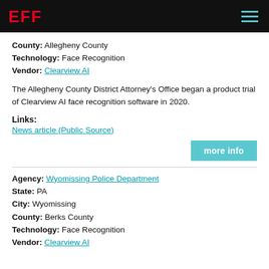EFF
County: Allegheny County
Technology: Face Recognition
Vendor: Clearview AI
The Allegheny County District Attorney's Office began a product trial of Clearview AI face recognition software in 2020.
Links:
News article (Public Source)
more info
Agency: Wyomissing Police Department
State: PA
City: Wyomissing
County: Berks County
Technology: Face Recognition
Vendor: Clearview AI